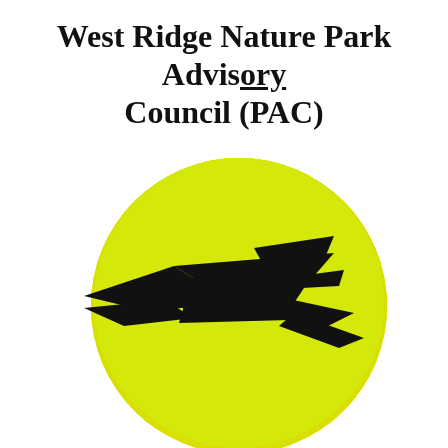West Ridge Nature Park Advisory Council (PAC)
[Figure (logo): Logo showing a black bird silhouette flying in front of a large yellow circle, representing the West Ridge Nature Park Advisory Council.]